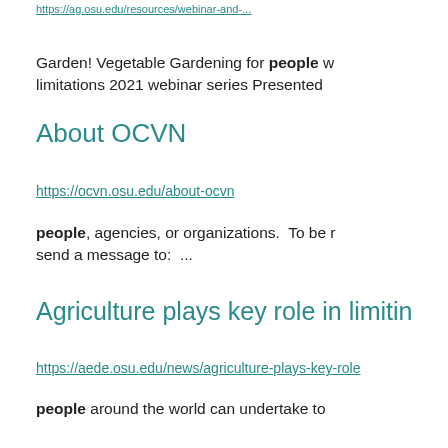https://ag.osu.edu/resources/webinar-and-...
Garden! Vegetable Gardening for people w... limitations 2021 webinar series Presented...
About OCVN
https://ocvn.osu.edu/about-ocvn
people, agencies, or organizations.  To be r... send a message to:  ...
Agriculture plays key role in limitin...
https://aede.osu.edu/news/agriculture-plays-key-role...
people around the world can undertake to...